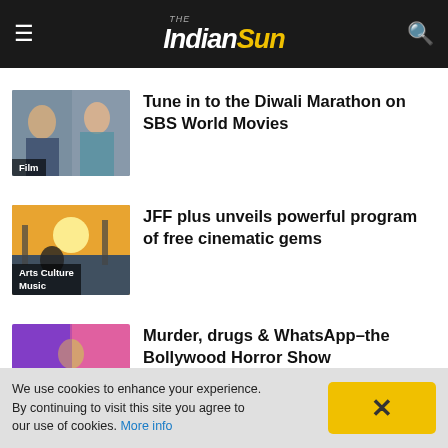The Indian Sun
[Figure (photo): Two people in traditional Indian attire standing outdoors, with Film label overlay]
Tune in to the Diwali Marathon on SBS World Movies
[Figure (photo): Outdoor crowd scene at sunset with construction cranes, Arts Culture Music label overlay]
JFF plus unveils powerful program of free cinematic gems
[Figure (photo): Colorful montage of a woman in pink/purple Indian dance costume, Film label overlay]
Murder, drugs & WhatsApp–the Bollywood Horror Show
We use cookies to enhance your experience. By continuing to visit this site you agree to our use of cookies. More info